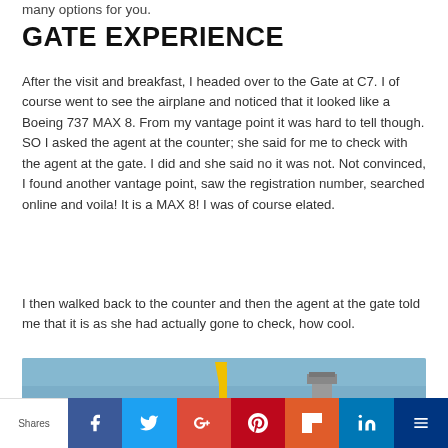many options for you.
GATE EXPERIENCE
After the visit and breakfast, I headed over to the Gate at C7. I of course went to see the airplane and noticed that it looked like a Boeing 737 MAX 8. From my vantage point it was hard to tell though. SO I asked the agent at the counter; she said for me to check with the agent at the gate. I did and she said no it was not. Not convinced, I found another vantage point, saw the registration number, searched online and voila! It is a MAX 8! I was of course elated.
I then walked back to the counter and then the agent at the gate told me that it is as she had actually gone to check, how cool.
[Figure (photo): Partial photo of an airplane tail fin (yellow) and an airport control tower against a blue sky background.]
Shares | Facebook | Twitter | Google+ | Pinterest | Flipboard | LinkedIn | Mix